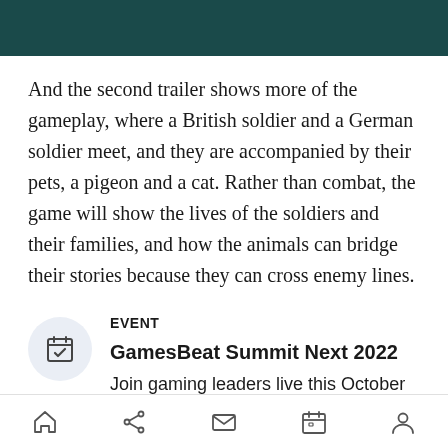And the second trailer shows more of the gameplay, where a British soldier and a German soldier meet, and they are accompanied by their pets, a pigeon and a cat. Rather than combat, the game will show the lives of the soldiers and their families, and how the animals can bridge their stories because they can cross enemy lines.
EVENT
GamesBeat Summit Next 2022
Join gaming leaders live this October 25-